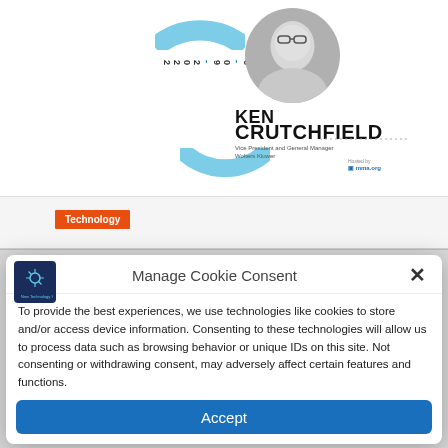[Figure (photo): Screenshot of a webpage showing a speaker card for Ken Crutchfield, Vice President and General Manager at Wolters Kluwer, with a black and white headshot photo, blue arc decorations, vertical date text '06-09-2022', and a Technology category tag in orange.]
Manage Cookie Consent
To provide the best experiences, we use technologies like cookies to store and/or access device information. Consenting to these technologies will allow us to process data such as browsing behavior or unique IDs on this site. Not consenting or withdrawing consent, may adversely affect certain features and functions.
Accept